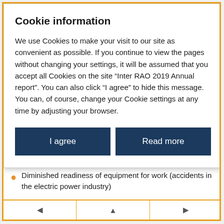Cookie information
We use Cookies to make your visit to our site as convenient as possible. If you continue to view the pages without changing your settings, it will be assumed that you accept all Cookies on the site “Inter RAO 2019 Annual report”. You can also click “I agree” to hide this message. You can, of course, change your Cookie settings at any time by adjusting your browser.
I agree
Read more
Diminished readiness of equipment for work (accidents in the electric power industry)
Negative consequences from incidents due to violations of occupational, industrial, fire, or environmental safety requirements during production activities
Failure to achieve project success indicators (including